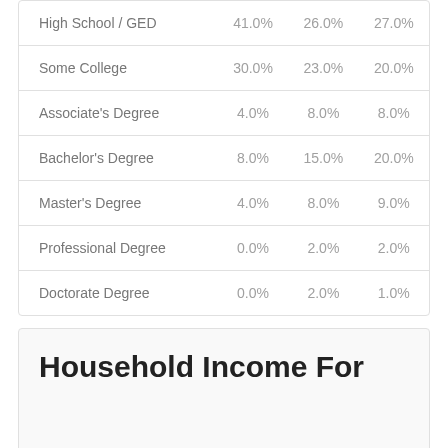|  |  |  |  |
| --- | --- | --- | --- |
| High School / GED | 41.0% | 26.0% | 27.0% |
| Some College | 30.0% | 23.0% | 20.0% |
| Associate's Degree | 4.0% | 8.0% | 8.0% |
| Bachelor's Degree | 8.0% | 15.0% | 20.0% |
| Master's Degree | 4.0% | 8.0% | 9.0% |
| Professional Degree | 0.0% | 2.0% | 2.0% |
| Doctorate Degree | 0.0% | 2.0% | 1.0% |
Household Income For